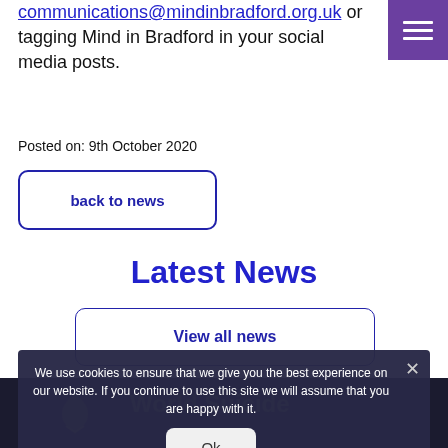communications@mindinbradford.org.uk or tagging Mind in Bradford in your social media posts.
Posted on: 9th October 2020
back to news
Latest News
View all news
We use cookies to ensure that we give you the best experience on our website. If you continue to use this site we will assume that you are happy with it.
Ok
[Figure (screenshot): Partially visible footer section showing a dark background with a green ribbon icon and text 'World Suicide' partially visible]